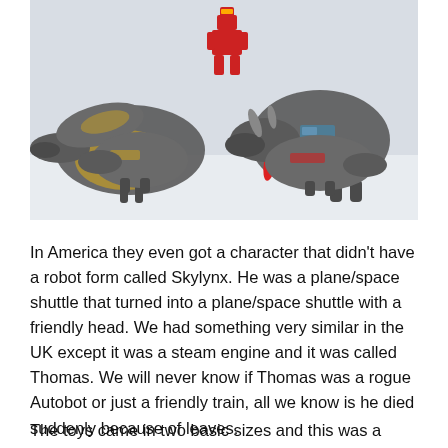[Figure (photo): Photograph of several Transformers Dinobots toy figures in dinosaur modes, arranged on a white surface. The toys are metallic grey with gold and red accents. A small red robot figure is visible in the background center.]
In America they even got a character that didn't have a robot form called Skylynx. He was a plane/space shuttle that turned into a plane/space shuttle with a friendly head. We had something very similar in the UK except it was a steam engine and it was called Thomas. We will never know if Thomas was a rogue Autobot or just a friendly train, all we know is he died suddenly because of leaves.
The toys came in two basic sizes and this was a point of